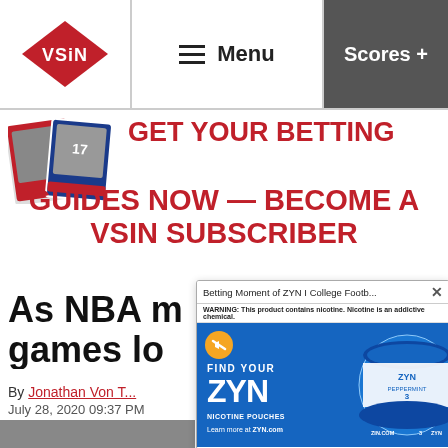VSiN | Menu | Scores +
[Figure (logo): VSiN logo - red diamond shape with VSiN text in white, menu hamburger icon, and Scores + button]
[Figure (illustration): Two sports trading card images side by side]
GET YOUR BETTING GUIDES NOW — BECOME A VSIN SUBSCRIBER
As NBA m... games lo...
By Jonathan Von T...
July 28, 2020 09:37 PM
[Figure (screenshot): ZYN nicotine pouches advertisement overlay - Betting Moment of ZYN | College Footb... with warning label and FIND YOUR ZYN branding on blue background]